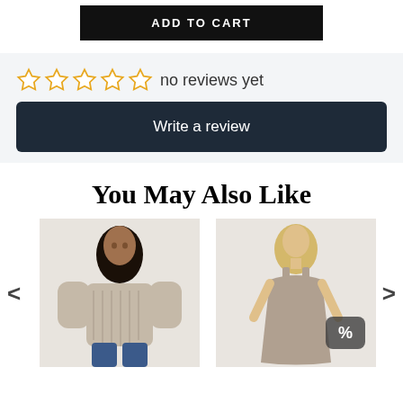[Figure (other): Black 'ADD TO CART' button]
[Figure (other): Review section with 5 empty gold stars and 'no reviews yet' text, plus 'Write a review' dark button]
You May Also Like
[Figure (photo): Photo of a woman wearing a beige/tan knit sweater]
[Figure (photo): Photo of a woman in a taupe sleeveless dress, with a discount badge showing %]